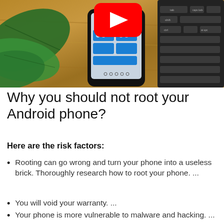[Figure (photo): A smartphone with a YouTube play button overlay, sitting on a wooden desk next to a green plant and a keyboard]
Why you should not root your Android phone?
Here are the risk factors:
Rooting can go wrong and turn your phone into a useless brick. Thoroughly research how to root your phone. ...
You will void your warranty. ...
Your phone is more vulnerable to malware and hacking. ...